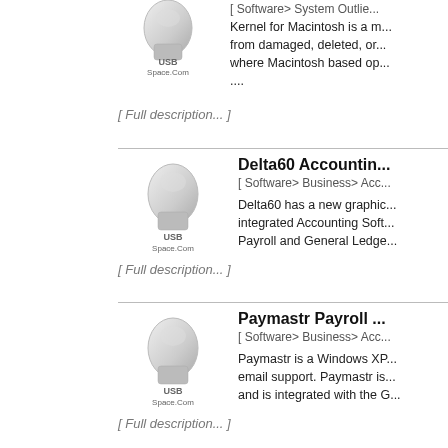[Figure (illustration): USB Space.Com USB drive product image for first entry]
[ Software> System Outli...
Kernel for Macintosh is a m... from damaged, deleted, or... where Macintosh based op... ....
[ Full description... ]
[Figure (illustration): USB Space.Com USB drive product image for Delta60 Accounting entry]
Delta60 Accountin...
[ Software> Business> Acc...
Delta60 has a new graphic... integrated Accounting Soft... Payroll and General Ledge...
[ Full description... ]
[Figure (illustration): USB Space.Com USB drive product image for Paymastr Payroll entry]
Paymastr Payroll ...
[ Software> Business> Acc...
Paymastr is a Windows XP... email support. Paymastr is... and is integrated with the G...
[ Full description... ]
[Figure (illustration): USB Space.Com USB drive product image for MMS Digital Video entry]
MMS Digital Video...
[ Software> Communicatio...
Intertraff MMS-DVR is a pr... IP and analogue camera...